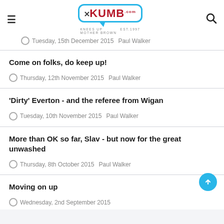XKUMB.com — KNEES UP MOTHER BROWN EST.1997
Tuesday, 15th December 2015   Paul Walker
Come on folks, do keep up!
Thursday, 12th November 2015   Paul Walker
'Dirty' Everton - and the referee from Wigan
Tuesday, 10th November 2015   Paul Walker
More than OK so far, Slav - but now for the great unwashed
Thursday, 8th October 2015   Paul Walker
Moving on up
Wednesday, 2nd September 2015